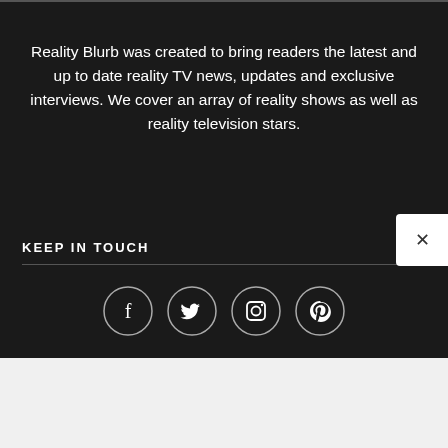Reality Blurb was created to bring readers the latest and up to date reality TV news, updates and exclusive interviews. We cover an array of reality shows as well as reality television stars.
KEEP IN TOUCH
[Figure (infographic): Four circular social media icons in a row: Facebook (f), Twitter (bird), Instagram (camera), Pinterest (p)]